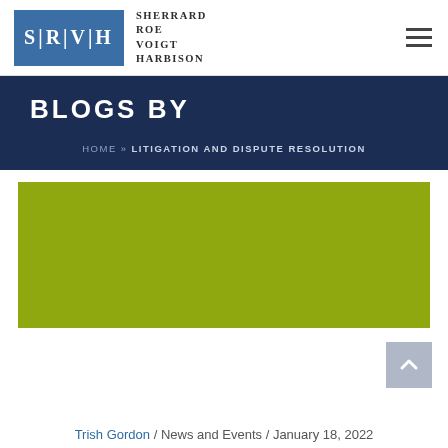[Figure (logo): SRVH law firm logo — blue box with 'S|R|V|H' text and firm name 'Sherrard Roe Voigt Harbison' beside it]
BLOGS BY
HOME » LITIGATION AND DISPUTE RESOLUTION
[Figure (photo): Olive/yellow-green colored rectangular image placeholder]
Trish Gordon /  News and Events /  January 18, 2022